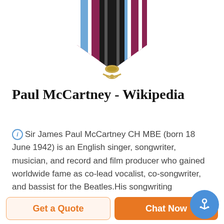[Figure (illustration): Military medal ribbon with blue, black, and white vertical stripes on a maroon background, partially cropped at top]
Paul McCartney - Wikipedia
Sir James Paul McCartney CH MBE (born 18 June 1942) is an English singer, songwriter, musician, and record and film producer who gained worldwide fame as co-lead vocalist, co-songwriter, and bassist for the Beatles.His songwriting partnership with John Lennon remains the most successful in history. After the group disbanded in 1970, he pursued a solo career and formed the band Wings with his ...
Get a Quote
Chat Now